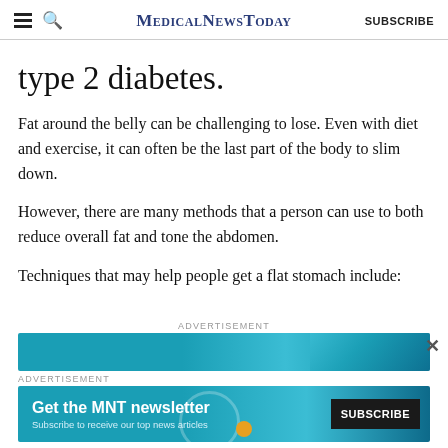MedicalNewsToday SUBSCRIBE
type 2 diabetes.
Fat around the belly can be challenging to lose. Even with diet and exercise, it can often be the last part of the body to slim down.
However, there are many methods that a person can use to both reduce overall fat and tone the abdomen.
Techniques that may help people get a flat stomach include:
[Figure (other): Advertisement banner with teal gradient background]
[Figure (other): MNT newsletter subscription advertisement with teal background, white bold text reading 'Get the MNT newsletter', subtitle 'Subscribe to receive our top news articles', and a SUBSCRIBE button.]